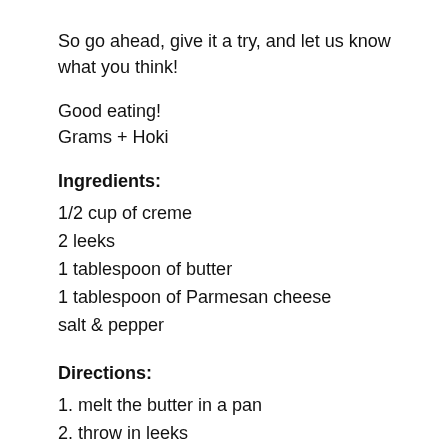So go ahead, give it a try, and let us know what you think!
Good eating!
Grams + Hoki
Ingredients:
1/2 cup of creme
2 leeks
1 tablespoon of butter
1 tablespoon of Parmesan cheese
salt & pepper
Directions:
1. melt the butter in a pan
2. throw in leeks
3. sprinkle salt & pepper
4. let it cook for 10 minutes, or until leeks are soft